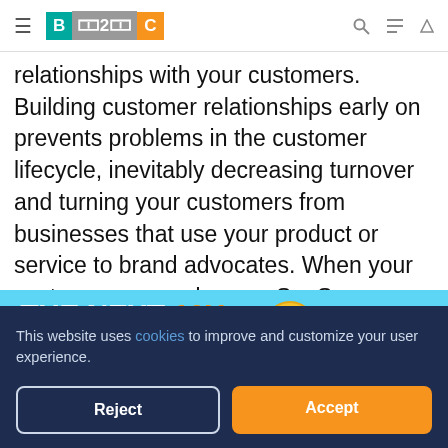B2C
relationships with your customers. Building customer relationships early on prevents problems in the customer lifecycle, inevitably decreasing turnover and turning your customers from businesses that use your product or service to brand advocates. When your customer succeeds, your SaaS company succeeds.
[Figure (illustration): Advertisement banner for Tamadoge meme coin with blue sky background, cartoon dog character, clouds, and gold coin logo. Text reads: THE NEXT 10X MEME COIN! TAMADOGE BETA SALE]
This website uses cookies to improve and customize your user experience.
Reject
Accept